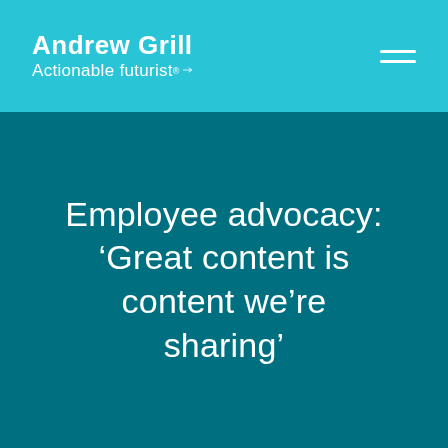Andrew Grill Actionable Futurist®
Employee advocacy: ‘Great content is content we’re sharing’